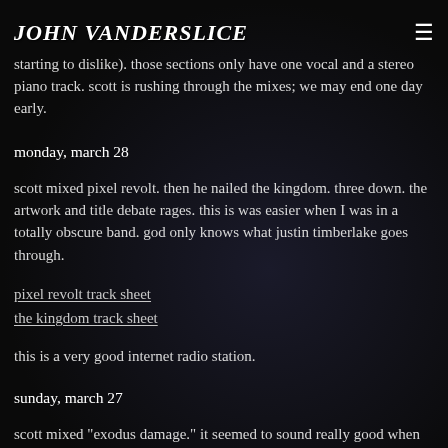starting to dislike). those sections only have one vocal and a stereo piano track. scott is rushing through the mixes; we may end one day early.
JOHN VANDERSLICE
monday, march 28
scott mixed pixel revolt. then he nailed the kingdom. three down. the artwork and title debate rages. this is was easier when I was in a totally obscure band. god only knows what justin timberlake goes through.
pixel revolt track sheet
the kingdom track sheet
this is a very good internet radio station.
sunday, march 27
scott mixed "exodus damage." it seemed to sound really good when he pulled up the faders. he did a little eqing, probably